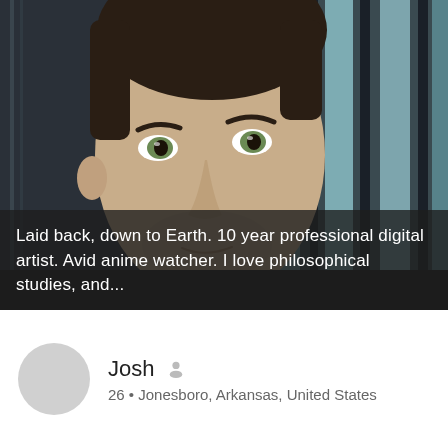[Figure (photo): Close-up photo of a young man with short dark hair and light eyes, looking directly at the camera. The background shows a blurred mix of dark and bright vertical stripes, suggesting window blinds or a similar structure.]
Laid back, down to Earth. 10 year professional digital artist. Avid anime watcher. I love philosophical studies, and...
Josh 26 • Jonesboro, Arkansas, United States